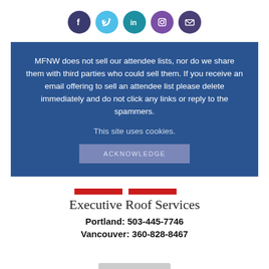[Figure (infographic): Row of 5 social media icon circles: Facebook (dark purple), Twitter (light blue), LinkedIn (teal), Instagram (purple), Email (dark purple)]
MFNW does not sell our attendee lists, nor do we share them with third parties who could sell them. If you receive an email offering to sell an attendee list please delete immediately and do not click any links or reply to the spammers.

This site uses cookies.

ACKNOWLEDGE
Executive Roof Services
Portland: 503-445-7746
Vancouver: 360-828-8467